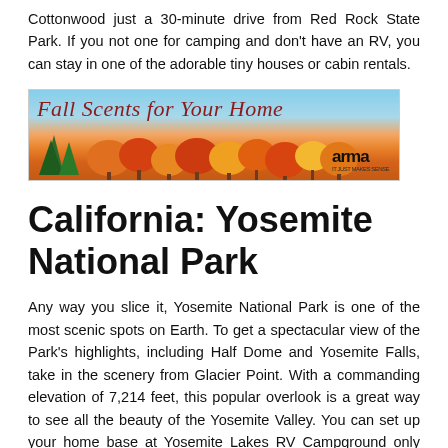Cottonwood just a 30-minute drive from Red Rock State Park. If you not one for camping and don't have an RV, you can stay in one of the adorable tiny houses or cabin rentals.
[Figure (illustration): Advertisement banner for 'Fall Scents for Your Home' showing autumn trees (orange, yellow, red foliage) against a blue sky with the 'arma' logo in the bottom right.]
California: Yosemite National Park
Any way you slice it, Yosemite National Park is one of the most scenic spots on Earth. To get a spectacular view of the Park's highlights, including Half Dome and Yosemite Falls, take in the scenery from Glacier Point. With a commanding elevation of 7,214 feet, this popular overlook is a great way to see all the beauty of the Yosemite Valley. You can set up your home base at Yosemite Lakes RV Campground only five miles from the west